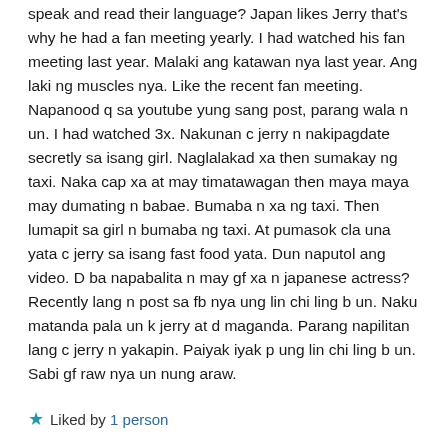speak and read their language? Japan likes Jerry that's why he had a fan meeting yearly. I had watched his fan meeting last year. Malaki ang katawan nya last year. Ang laki ng muscles nya. Like the recent fan meeting. Napanood q sa youtube yung sang post, parang wala n un. I had watched 3x. Nakunan c jerry n nakipagdate secretly sa isang girl. Naglalakad xa then sumakay ng taxi. Naka cap xa at may timatawagan then maya maya may dumating n babae. Bumaba n xa ng taxi. Then lumapit sa girl n bumaba ng taxi. At pumasok cla una yata c jerry sa isang fast food yata. Dun naputol ang video. D ba napabalita n may gf xa n japanese actress? Recently lang n post sa fb nya ung lin chi ling b un. Naku matanda pala un k jerry at d maganda. Parang napilitan lang c jerry n yakapin. Paiyak iyak p ung lin chi ling b un. Sabi gf raw nya un nung araw.
Liked by 1 person
Reply ↓